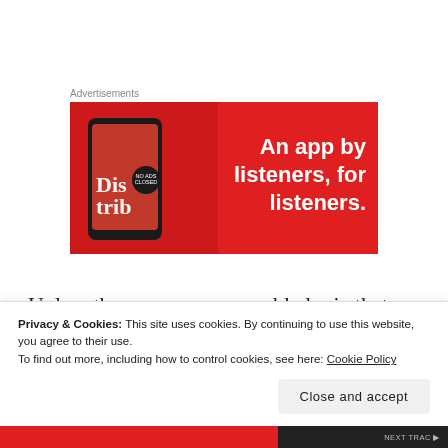Advertisements
[Figure (illustration): Red advertisement banner for a music/podcast app. Shows a smartphone with 'Distrib' text on screen and the tagline 'An app by listeners, for listeners.' in white bold text on red background.]
Unless they use programmable logic that allows the sensor itself to be smart in the way it turns the light
Privacy & Cookies: This site uses cookies. By continuing to use this website, you agree to their use.
To find out more, including how to control cookies, see here: Cookie Policy
Close and accept